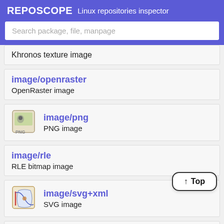REPOSCOPE  Linux repositories inspector
Search package, file, manpage
Khronos texture image
image/openraster
OpenRaster image
image/png
PNG image
image/rle
RLE bitmap image
image/svg+xml
SVG image
image/svg+xml-compressed
compressed SVG image